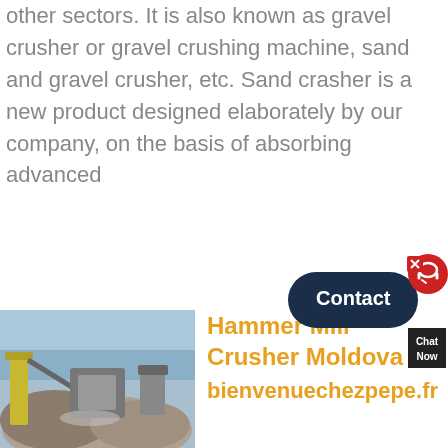other sectors. It is also known as gravel crusher or gravel crushing machine, sand and gravel crusher, etc. Sand crasher is a new product designed elaborately by our company, on the basis of absorbing advanced
[Figure (screenshot): Contact widget with dark navy 'Contact' button, red circle with headset icon, close X button, and dark 'Chat Now' label]
[Figure (photo): Mining/crushing equipment at a quarry site with machinery and stone piles under a blue sky]
Hammer Mill Crusher Moldova bienvenuechezpepe.fr
Sale of various types of mining equipment . Our main products are crusher machines for processing over 160 kinds of stones and ores in mining, quarry, construction, road and other industries.Leading products include jaw